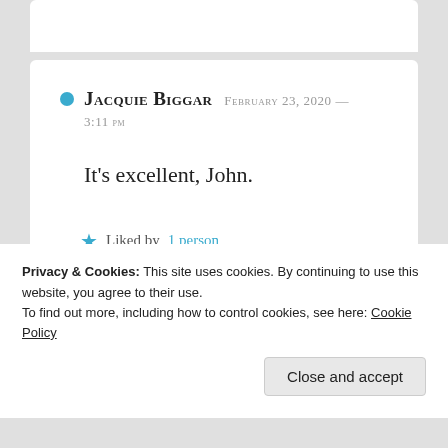JACQUIE BIGGAR  FEBRUARY 23, 2020 —  3:11 PM
It’s excellent, John.
★ Liked by 1 person
Privacy & Cookies: This site uses cookies. By continuing to use this website, you agree to their use.
To find out more, including how to control cookies, see here: Cookie Policy
Close and accept